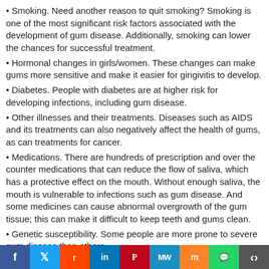• Smoking. Need another reason to quit smoking? Smoking is one of the most significant risk factors associated with the development of gum disease. Additionally, smoking can lower the chances for successful treatment.
• Hormonal changes in girls/women. These changes can make gums more sensitive and make it easier for gingivitis to develop.
• Diabetes. People with diabetes are at higher risk for developing infections, including gum disease.
• Other illnesses and their treatments. Diseases such as AIDS and its treatments can also negatively affect the health of gums, as can treatments for cancer.
• Medications. There are hundreds of prescription and over the counter medications that can reduce the flow of saliva, which has a protective effect on the mouth. Without enough saliva, the mouth is vulnerable to infections such as gum disease. And some medicines can cause abnormal overgrowth of the gum tissue; this can make it difficult to keep teeth and gums clean.
• Genetic susceptibility. Some people are more prone to severe gum disease than others.
Who gets gum disease?
People usually don't show signs of gum disease until they are in their 30s